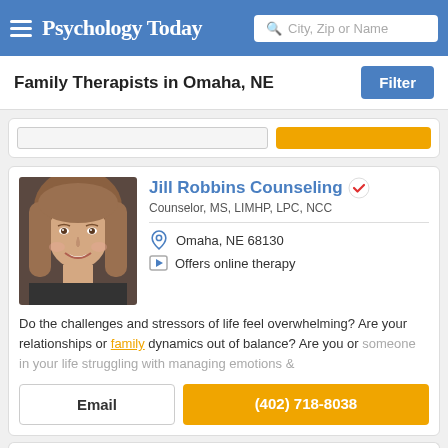Psychology Today — City, Zip or Name search
Family Therapists in Omaha, NE
[Figure (photo): Profile photo of Jill Robbins, a woman with blonde hair smiling]
Jill Robbins Counseling
Counselor, MS, LIMHP, LPC, NCC
Omaha, NE 68130
Offers online therapy
Do the challenges and stressors of life feel overwhelming? Are your relationships or family dynamics out of balance? Are you or someone in your life struggling with managing emotions &
Email
(402) 718-8038
Thomas C. Grandy